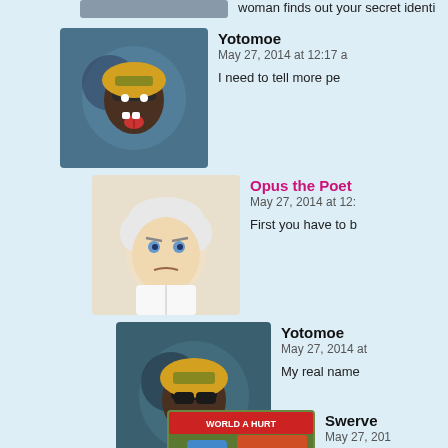woman finds out your secret identi
Yotomoe
May 27, 2014 at 12:17 a
I need to tell more pe
Opus the Poet
May 27, 2014 at 12:
First you have to b
Yotomoe
May 27, 2014 at
My real name
Swerve
May 27, 2014
I don't thin
out your s
game of tu
dangle him
while havi